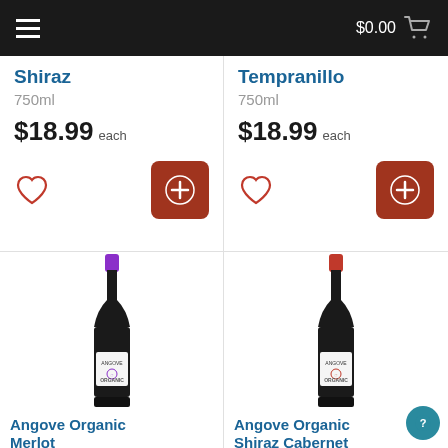$0.00
Shiraz
750ml
$18.99 each
Tempranillo
750ml
$18.99 each
[Figure (photo): Angove Organic Merlot wine bottle with purple cap]
[Figure (photo): Angove Organic Shiraz Cabernet wine bottle with red cap]
Angove Organic Merlot
Angove Organic Shiraz Cabernet